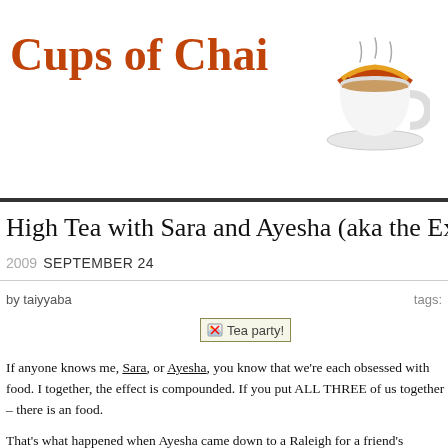Cups of Chai
[Figure (illustration): A decorative chai tea cup illustration with orange/red patterned rim]
High Tea with Sara and Ayesha (aka the Ex...
2009 SEPTEMBER 24
by taiyyaba	tags:
[Figure (photo): Tea party image placeholder with broken image icon and alt text 'Tea party!']
If anyone knows me, Sara, or Ayesha, you know that we're each obsessed with food. I together, the effect is compounded. If you put ALL THREE of us together – there is an food.
That's what happened when Ayesha came down to a Raleigh for a friend's wedding. W make for weeks beforehand and finally settled on a high tea so we could make a lot of spent all day cooking up a storm.
Also, our cameras got to visit each other. All pictures in this post are taken by me, Aye